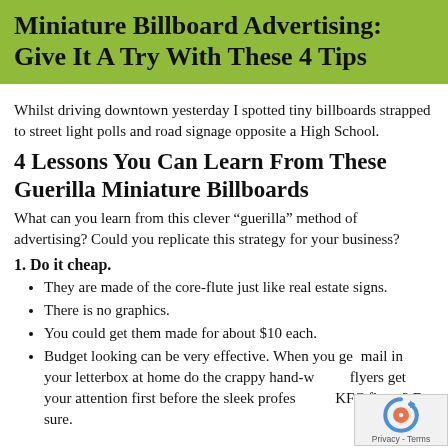Miniature Billboard Advertising: Give It A Try With These 4 Tips
Whilst driving downtown yesterday I spotted tiny billboards strapped to street light polls and road signage opposite a High School.
4 Lessons You Can Learn From These Guerilla Miniature Billboards
What can you learn from this clever “guerilla” method of advertising? Could you replicate this strategy for your business?
1. Do it cheap.
They are made of the core-flute just like real estate signs.
There is no graphics.
You could get them made for about $10 each.
Budget looking can be very effective. When you get mail in your letterbox at home do the crappy hand-w... flyers get your attention first before the sleek profes... KFC flyers? For sure.